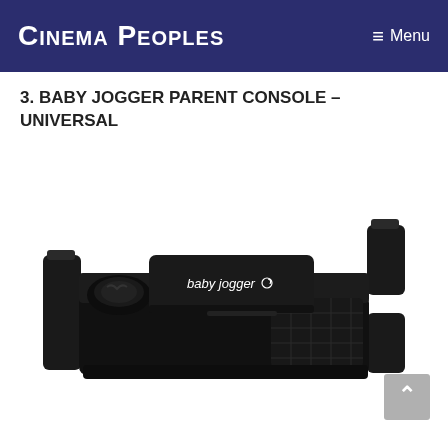Cinema Peoples   ≡ Menu
3. BABY JOGGER PARENT CONSOLE – UNIVERSAL
[Figure (photo): Photo of Baby Jogger Parent Console Universal stroller accessory — a black padded console with cup holders, mesh pockets, mounting clips on both sides, and the 'baby jogger' logo on the front flap.]